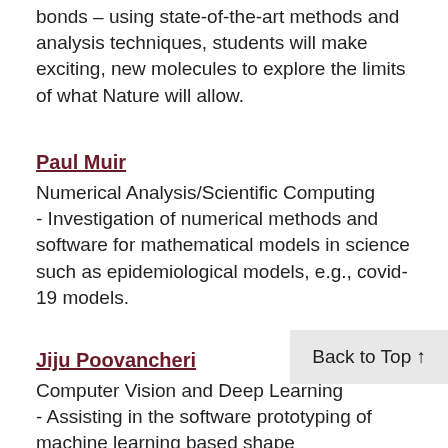bonds – using state-of-the-art methods and analysis techniques, students will make exciting, new molecules to explore the limits of what Nature will allow.
Paul Muir
Numerical Analysis/Scientific Computing
- Investigation of numerical methods and software for mathematical models in science such as epidemiological models, e.g., covid-19 models.
Jiju Poovancheri
Computer Vision and Deep Learning
- Assisting in the software prototyping of machine learning based shape reconstruction.
Nicolas Roulin
Industrial/Organizational Psychology
Back to Top ↑